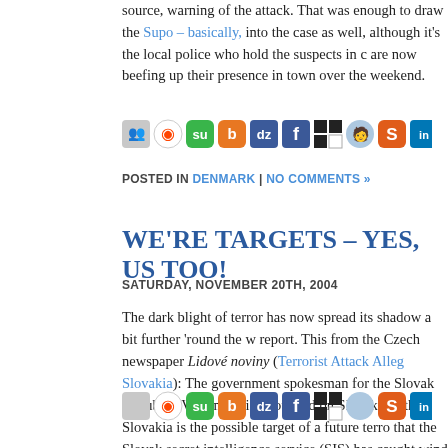source, warning of the attack. That was enough to draw the Supo – basically, into the case as well, although it's the local police who hold the suspects in c are now beefing up their presence in town over the weekend.
[Figure (infographic): Row of social sharing icons including Digg, Reddit, StumbleUpon, Bebo, Delicious, Facebook, Delicious black, person icon, orange icon, LinkedIn, green icon, Twitter]
POSTED IN DENMARK | NO COMMENTS »
WE'RE TARGETS – YES, US TOO!
SATURDAY, NOVEMBER 20TH, 2004
The dark blight of terror has now spread its shadow a bit further 'round the w report. This from the Czech newspaper Lidové noviny (Terrorist Attack Alleg Slovakia): The government spokesman for the Slovak Republic, Vladimir Si announced on Slovak TV that Slovakia is the possible target of a future terro that the Slovak secret intelligence service (SIS) has caught wind of somethin announcement put it, "During radio broadcasts in lands in the Near and Midd appeared speculation according to which Slovakia was designated as a possib terrorist attack." Naturally, though, there was nothing picked up about an act strike; I daresay the entire conduct of the Slovak government would have be if there had been. (more…)
[Figure (infographic): Row of social sharing icons (bottom) including Digg, Reddit, StumbleUpon, Bebo, Delicious, Facebook, Delicious black, person icon, orange icon, LinkedIn, green icon, Twitter]